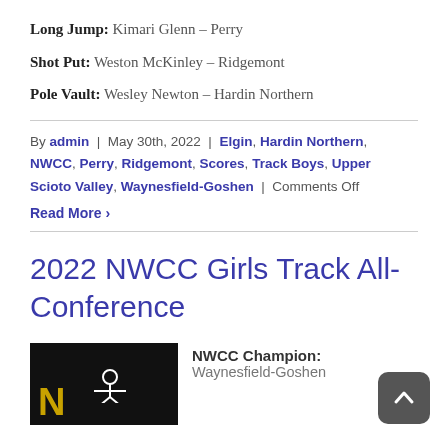Long Jump: Kimari Glenn – Perry
Shot Put: Weston McKinley – Ridgemont
Pole Vault: Wesley Newton – Hardin Northern
By admin | May 30th, 2022 | Elgin, Hardin Northern, NWCC, Perry, Ridgemont, Scores, Track Boys, Upper Scioto Valley, Waynesfield-Goshen | Comments Off
Read More >
2022 NWCC Girls Track All-Conference
[Figure (photo): Black background image with a yellow letter N and a white track/running icon]
NWCC Champion: Waynesfield-Goshen